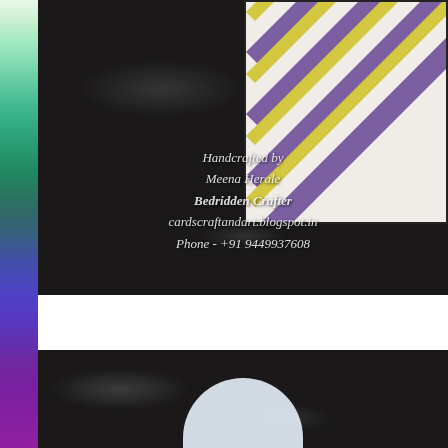[Figure (photo): Photo of a handcrafted item on a dark marble surface with striped decorative paper panel (purple and yellow diagonal stripes) visible in upper right. Watermark text overlay reads: Handcrafted by Meena Herale Bedridden Crafter cardscraftandart.blogspot.in Phone - +91 9449937608]
[Figure (photo): Close-up photo of a handcrafted item on dark marble surface, with a white rounded shape visible at the bottom center.]